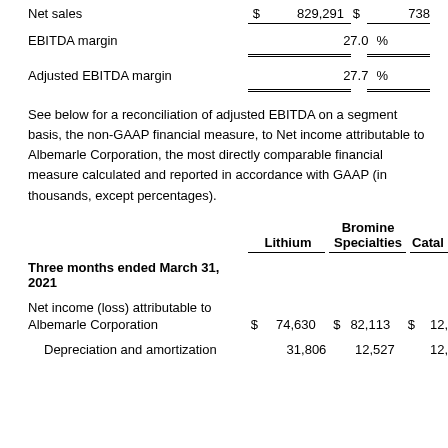|  | Lithium | Bromine Specialties | Catal... |
| --- | --- | --- | --- |
| Net sales | $ 829,291 | $ 738... |
| EBITDA margin | 27.0 % |  |
| Adjusted EBITDA margin | 27.7 % |  |
See below for a reconciliation of adjusted EBITDA on a segment basis, the non-GAAP financial measure, to Net income attributable to Albemarle Corporation, the most directly comparable financial measure calculated and reported in accordance with GAAP (in thousands, except percentages).
|  | Lithium | Bromine Specialties | Catal... |
| --- | --- | --- | --- |
| Three months ended March 31, 2021 |  |  |  |
| Net income (loss) attributable to Albemarle Corporation | $ 74,630 | $ 82,113 | $ 12,... |
| Depreciation and amortization | 31,806 | 12,527 | 12,... |